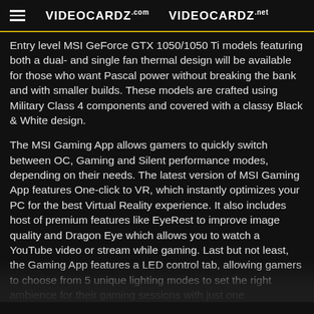VIDEOCARDZ.com  VIDEOCARDZ.net
Entry level MSI GeForce GTX 1050/1050 Ti models featuring both a dual- and single fan thermal design will be available for those who want Pascal power without breaking the bank and with smaller builds. These models are crafted using Military Class 4 components and covered with a classy Black & White design.
The MSI Gaming App allows gamers to quickly switch between OC, Gaming and Silent performance modes, depending on their needs. The latest version of MSI Gaming App features One-click to VR, which instantly optimizes your PC for the best Virtual Reality experience. It also includes host of premium features like EyeRest to improve image quality and Dragon Eye which allows you to watch a YouTube video or stream while gaming. Last but not least, the Gaming App features a LED control tab, allowing gamers to choose from 5 unique lighting modes to set the right ambience for their gaming sessions with just one